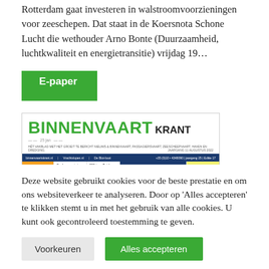Rotterdam gaat investeren in walstroomvoorzieningen voor zeeschepen. Dat staat in de Koersnota Schone Lucht die wethouder Arno Bonte (Duurzaamheid, luchtkwaliteit en energietransitie) vrijdag 19...
[Figure (screenshot): E-paper button (green tag labeled 'E-paper') above a screenshot of the Binnenvaart Krant newspaper front page, showing the masthead 'BINNENVAART KRANT' in green and black bold text, navigation bar, and article thumbnails.]
Deze website gebruikt cookies voor de beste prestatie en om ons websiteverkeer te analyseren. Door op 'Alles accepteren' te klikken stemt u in met het gebruik van alle cookies. U kunt ook gecontroleerd toestemming te geven.